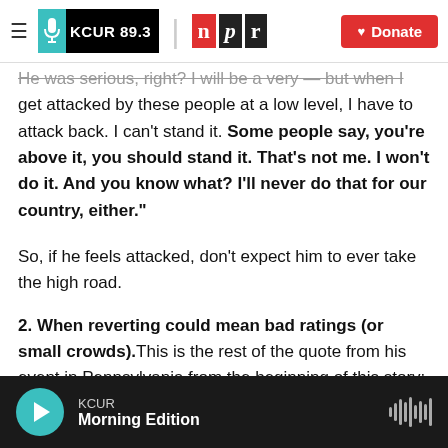KCUR 89.3 | npr | Donate
He was serious, right? I will be a very — but when I get attacked by these people at a low level, I have to attack back. I can't stand it. Some people say, you're above it, you should stand it. That's not me. I won't do it. And you know what? I'll never do that for our country, either."
So, if he feels attacked, don't expect him to ever take the high road.
2. When reverting could mean bad ratings (or small crowds).
This is the rest of the quote from his event in Pennsylvania from the beginning of this story:
KCUR Morning Edition